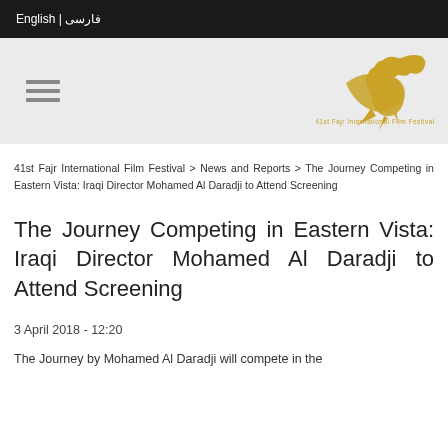English | فارسی
[Figure (logo): 41st Fajr International Film Festival golden bird logo with Arabic/Persian calligraphy]
41st Fajr International Film Festival > News and Reports > The Journey Competing in Eastern Vista: Iraqi Director Mohamed Al Daradji to Attend Screening
The Journey Competing in Eastern Vista: Iraqi Director Mohamed Al Daradji to Attend Screening
3 April 2018 - 12:20
The Journey by Mohamed Al Daradji will compete in the